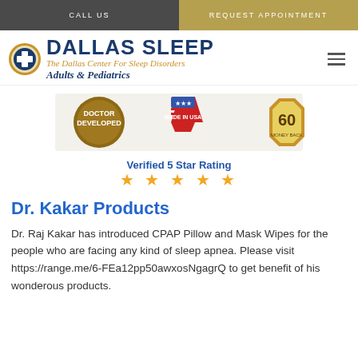CALL US | REQUEST APPOINTMENT
[Figure (logo): Dallas Sleep logo with cross/shield icon, text 'DALLAS SLEEP', subtitle 'The Dallas Center For Sleep Disorders', 'Adults & Pediatrics']
[Figure (infographic): Badges: Doctor Developed, Made in USA, 60-day money back. Verified 5 Star Rating with 5 gold stars.]
Dr. Kakar Products
Dr. Raj Kakar has introduced CPAP Pillow and Mask Wipes for the people who are facing any kind of sleep apnea. Please visit https://range.me/6-FEa12pp50awxosNgagrQ to get benefit of his wonderous products.